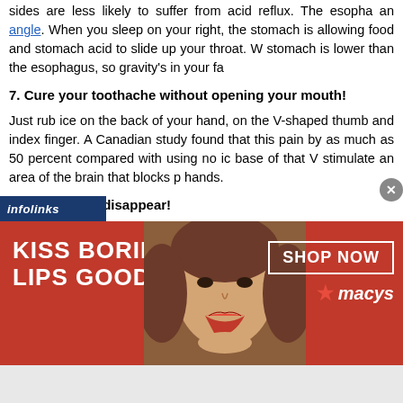sides are less likely to suffer from acid reflux. The esopho an angle. When you sleep on your right, the stomach is allowing food and stomach acid to slide up your throat. W stomach is lower than the esophagus, so gravity's in your fa
7. Cure your toothache without opening your mouth!
Just rub ice on the back of your hand, on the V-shaped thumb and index finger. A Canadian study found that this pain by as much as 50 percent compared with using no ic base of that V stimulate an area of the brain that blocks p hands.
8. Make burns disappear!
When you accidentally singe your finger on the stove, cl pressure with the finger pads of your unmarred hand. Ic quickly, Dr. DeStefano says, but since the natual method b a normal temperature, the skin is less likely to blister.
9. Stop the world from spinning!
[Figure (infographic): Advertisement banner: red background with woman's face and red lips, text 'KISS BORING LIPS GOODBYE' on left, 'SHOP NOW' button and Macy's star logo on right. Infolinks label at top-left of ad.]